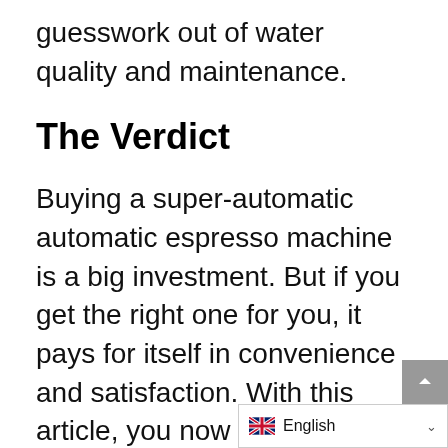guesswork out of water quality and maintenance.
The Verdict
Buying a super-automatic automatic espresso machine is a big investment. But if you get the right one for you, it pays for itself in convenience and satisfaction. With this article, you now know just what to look for when purchasing your own. And, we recommend Jura Z8 for the best automatic espresso m…